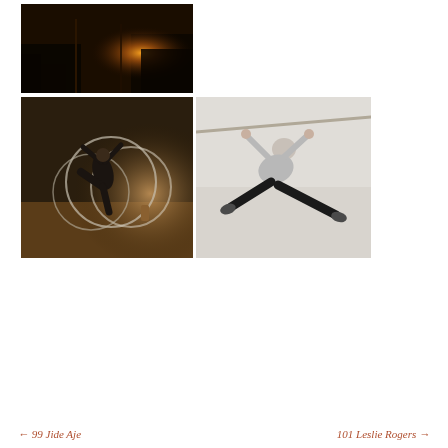[Figure (photo): Dark nighttime photo showing a street scene with warm orange/amber light source in the background, silhouettes of structures visible]
[Figure (photo): Dancer in black outfit performing with large metal hoops/circles in a warmly lit studio space, dynamic pose with leg raised]
[Figure (photo): Person in grey top and black pants performing a dance move on a light-colored floor, arms raised and legs spread wide in a falling/sliding pose]
← 99 Jide Aje   101 Leslie Rogers →